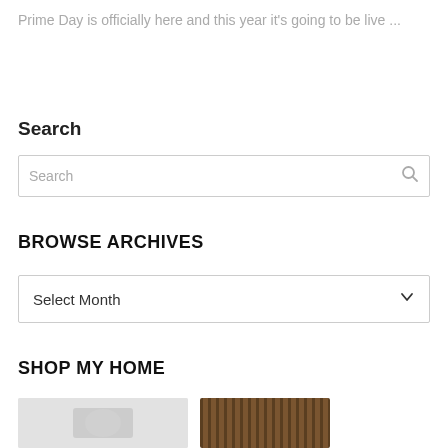Prime Day is officially here and this year it's going to be live ...
Search
Search
BROWSE ARCHIVES
Select Month
SHOP MY HOME
[Figure (photo): Two thumbnail images partially visible at bottom of page]